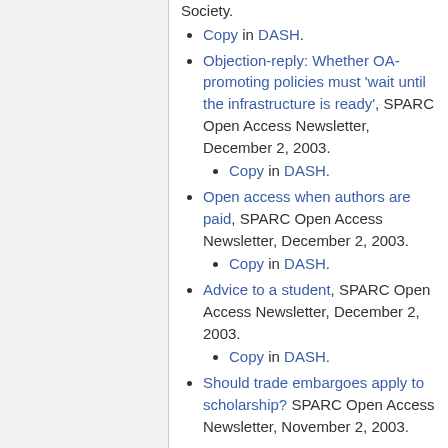Society.
Copy in DASH.
Objection-reply: Whether OA-promoting policies must 'wait until the infrastructure is ready', SPARC Open Access Newsletter, December 2, 2003.
Copy in DASH.
Open access when authors are paid, SPARC Open Access Newsletter, December 2, 2003.
Copy in DASH.
Advice to a student, SPARC Open Access Newsletter, December 2, 2003.
Copy in DASH.
Should trade embargoes apply to scholarship? SPARC Open Access Newsletter, November 2, 2003.